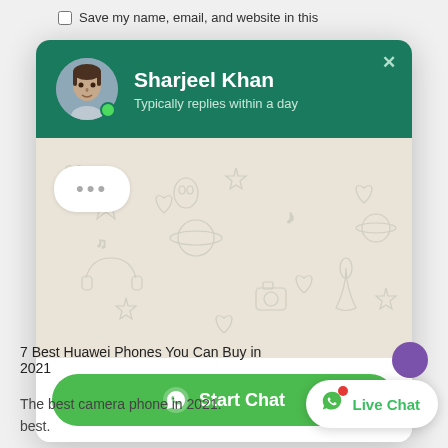Save my name, email, and website in this
[Figure (screenshot): WhatsApp chat widget popup showing profile of Sharjeel Khan with green header, avatar, online status, WhatsApp doodle pattern background, and Start Chat button]
7 Best Huawei Phones You Can Buy in 2021
The best camera phone in 2021. best.
[Figure (screenshot): Live Chat button widget at bottom right with WhatsApp icon and red notification dot]